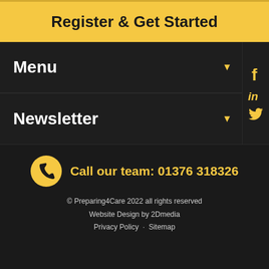Register & Get Started
Menu
Newsletter
Call our team: 01376 318326
© Preparing4Care 2022 all rights reserved
Website Design by 2Dmedia
Privacy Policy · Sitemap